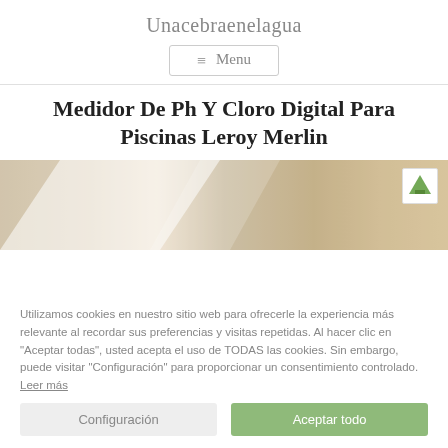Unacebraenelagua
≡ Menu
Medidor De Ph Y Cloro Digital Para Piscinas Leroy Merlin
[Figure (photo): Outdoor photo showing a white hammock or awning with wooden fence background and a small logo in the top right corner]
Utilizamos cookies en nuestro sitio web para ofrecerle la experiencia más relevante al recordar sus preferencias y visitas repetidas. Al hacer clic en "Aceptar todas", usted acepta el uso de TODAS las cookies. Sin embargo, puede visitar "Configuración" para proporcionar un consentimiento controlado. Leer más
Configuración
Aceptar todo